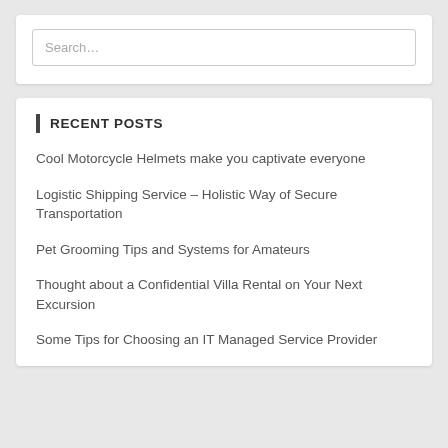[Figure (screenshot): Search input field with placeholder text 'Search...']
RECENT POSTS
Cool Motorcycle Helmets make you captivate everyone
Logistic Shipping Service – Holistic Way of Secure Transportation
Pet Grooming Tips and Systems for Amateurs
Thought about a Confidential Villa Rental on Your Next Excursion
Some Tips for Choosing an IT Managed Service Provider